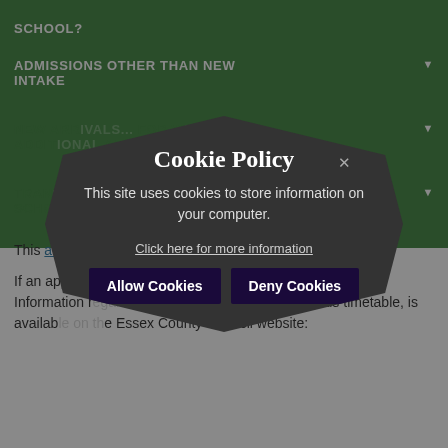SCHOOL?
ADMISSIONS OTHER THAN NEW INTAKE
NEW ARRIVALS... FOR WHICH... ADDITIONAL ALLOWANCE
TRANSFER... SCHOOL...
This accommodation availability, to appeal the...
If an application is refused, you have the right to appeal. Information regarding appeals, including the appeals timetable, is available on the Essex County Council website:
[Figure (screenshot): Cookie Policy modal overlay with dark hexagonal/shield shape containing: 'Cookie Policy' title, 'This site uses cookies to store information on your computer.', 'Click here for more information' link, and two buttons: 'Allow Cookies' and 'Deny Cookies'. An X close button is visible.]